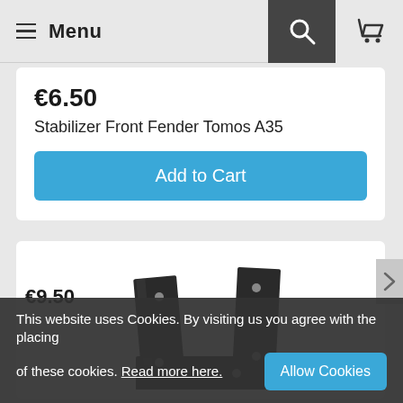Menu
€6.50
Stabilizer Front Fender Tomos A35
Add to Cart
[Figure (photo): Black metal stabilizer bracket / fender brace, U-shaped with mounting holes]
€9.50
This website uses Cookies. By visiting us you agree with the placing of these cookies. Read more here.
Allow Cookies